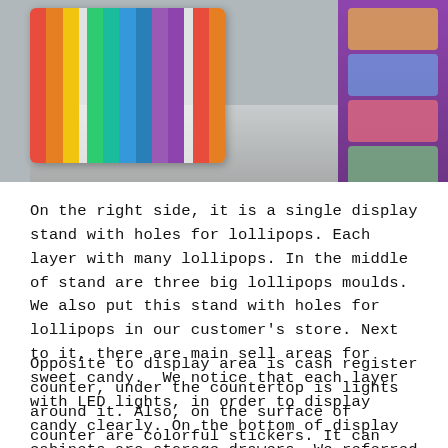[Figure (photo): A candy store interior showing colorful striped display panels on the left and a lollipop stand with colorful candy on the right, with a grey polished floor in the middle.]
On the right side, it is a single display stand with holes for lollipops. Each layer with many lollipops. In the middle of stand are three big lollipops moulds. We also put this stand with holes for lollipops in our customer's store. Next to it, there are main sell areas for sweet candy.  We notice that each layer with LED lights, in order to display candy clearly. On the bottom of display cabinets are storage drawers. We referred to this, as well.
Opposite to display area is cash register counter, under the countertop is lights around it. Also, on the surface of counter are colorful stickers. It can make whole shop more attractive. Besides, there are colorful lights on the ceiling, this light is